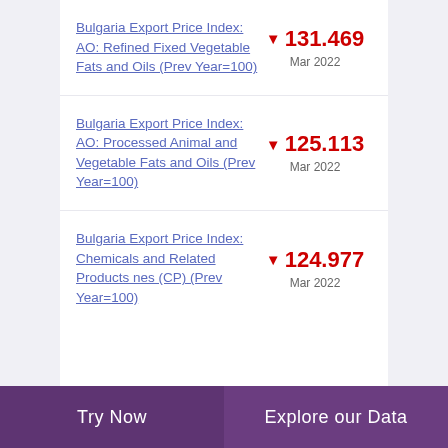Bulgaria Export Price Index: AO: Refined Fixed Vegetable Fats and Oils (Prev Year=100)
▼ 131.469 Mar 2022
Bulgaria Export Price Index: AO: Processed Animal and Vegetable Fats and Oils (Prev Year=100)
▼ 125.113 Mar 2022
Bulgaria Export Price Index: Chemicals and Related Products nes (CP) (Prev Year=100)
▼ 124.977 Mar 2022
Try Now   Explore our Data